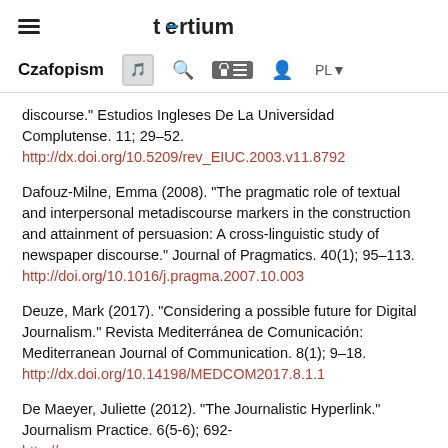tertium
Czasopism [icons]
discourse." Estudios Ingleses De La Universidad Complutense. 11; 29–52. http://dx.doi.org/10.5209/rev_EIUC.2003.v11.8792
Dafouz-Milne, Emma (2008). "The pragmatic role of textual and interpersonal metadiscourse markers in the construction and attainment of persuasion: A cross-linguistic study of newspaper discourse." Journal of Pragmatics. 40(1); 95–113. http://doi.org/10.1016/j.pragma.2007.10.003
Deuze, Mark (2017). "Considering a possible future for Digital Journalism." Revista Mediterránea de Comunicación: Mediterranean Journal of Communication. 8(1); 9–18. http://dx.doi.org/10.14198/MEDCOM2017.8.1.1
De Maeyer, Juliette (2012). "The Journalistic Hyperlink." Journalism Practice. 6(5-6); 692-